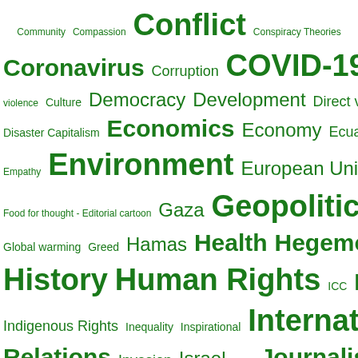[Figure (other): Tag cloud with various topic keywords in different sizes, all in green color. Topics include Community, Compassion, Conflict, Conspiracy Theories, Coronavirus, Corruption, COVID-19, Cuba, Cultural violence, Culture, Democracy, Development, Direct violence, Disaster Capitalism, Economics, Economy, Ecuador, Elites, Empathy, Environment, European Union, Fatah, Finance, Food for thought - Editorial cartoon, Gaza, Geopolitics, Global warming, Greed, Hamas, Health, Hegemony, History, Human Rights, ICC, Imperialism, India, Indigenous Rights, Inequality, Inspirational, International Relations, Invasion, Israel, Joke, Journalism, Justice, Latin America Caribbean, Literature, Lockdown, Media, MENA, Military, Military Industrial Complex, Military Intervention, Military Supremacy, Music Video, Nakba, NATO, New World Order, Nonviolence, Nuclear Weapons, Occupation, Oslo Accords, Palestine, Palestine/Israel, Pandemic, PCR Tests, Peace, Pentagon, Poetry, Politics, Power, Predatory Capitalism, Profits, Public Health, Racism, Religion, Research, Russia, Sanctions, Science, Science and Medicine, Settlers, Social justice, Solutions, State Terrorism, Structural violence]